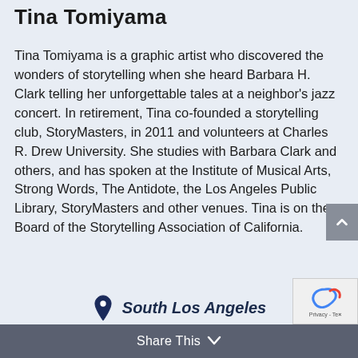Tina Tomiyama
Tina Tomiyama is a graphic artist who discovered the wonders of storytelling when she heard Barbara H. Clark telling her unforgettable tales at a neighbor's jazz concert. In retirement, Tina co-founded a storytelling club, StoryMasters, in 2011 and volunteers at Charles R. Drew University. She studies with Barbara Clark and others, and has spoken at the Institute of Musical Arts, Strong Words, The Antidote, the Los Angeles Public Library, StoryMasters and other venues. Tina is on the Board of the Storytelling Association of California.
South Los Angeles
Share This